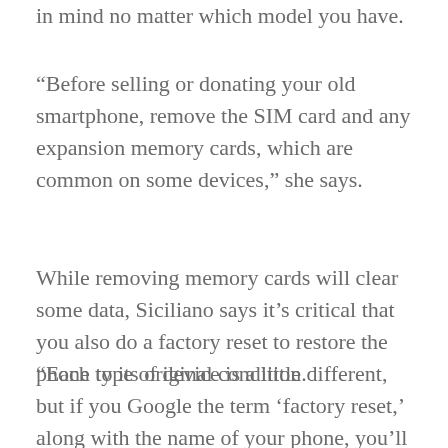in mind no matter which model you have.
“Before selling or donating your old smartphone, remove the SIM card and any expansion memory cards, which are common on some devices,” she says.
While removing memory cards will clear some data, Siciliano says it’s critical that you also do a factory reset to restore the phone to its original condition.
“Each type of device is a little different, but if you Google the term ‘factory reset,’ along with the name of your phone, you’ll find instructions on how to wipe it clean,” he says. The process usually